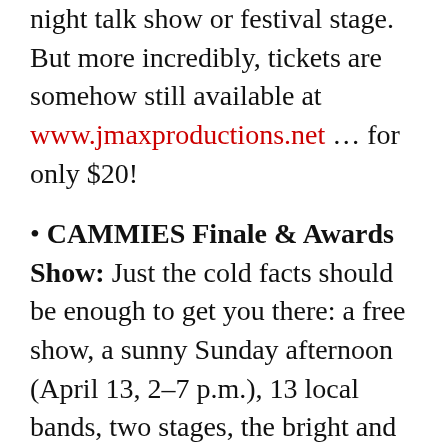night talk show or festival stage. But more incredibly, tickets are somehow still available at www.jmaxproductions.net … for only $20!
CAMMIES Finale & Awards Show: Just the cold facts should be enough to get you there: a free show, a sunny Sunday afternoon (April 13, 2–7 p.m.), 13 local bands, two stages, the bright and beautiful Chico Women's Club, and beer and food trucks in the parking lot. You couldn't ask for a better way to cap off